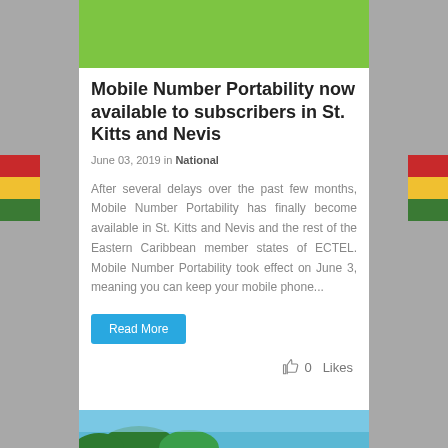[Figure (photo): Green header banner image for article]
Mobile Number Portability now available to subscribers in St. Kitts and Nevis
June 03, 2019 in National
After several delays over the past few months, Mobile Number Portability has finally become available in St. Kitts and Nevis and the rest of the Eastern Caribbean member states of ECTEL. Mobile Number Portability took effect on June 3, meaning you can keep your mobile phone...
Read More
0  Likes
[Figure (photo): Bottom image showing palm trees and sky]